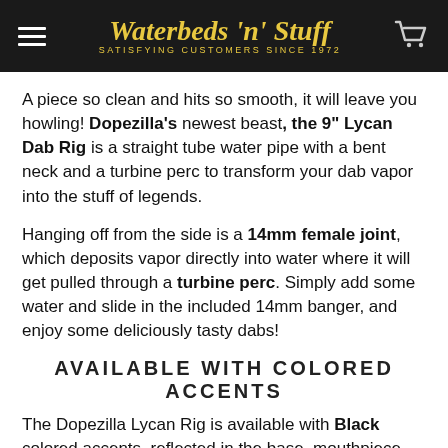Waterbeds 'n' Stuff — SATISFYING CUSTOMERS SINCE 1972
A piece so clean and hits so smooth, it will leave you howling! Dopezilla's newest beast, the 9" Lycan Dab Rig is a straight tube water pipe with a bent neck and a turbine perc to transform your dab vapor into the stuff of legends.
Hanging off from the side is a 14mm female joint, which deposits vapor directly into water where it will get pulled through a turbine perc. Simply add some water and slide in the included 14mm banger, and enjoy some deliciously tasty dabs!
AVAILABLE WITH COLORED ACCENTS
The Dopezilla Lycan Rig is available with Black colored accents, reflected in the base, mouthpiece, monster